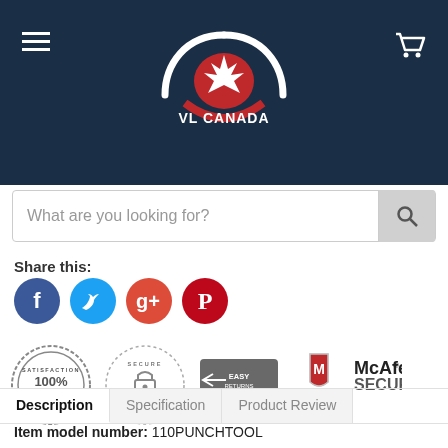VL CANADA
What are you looking for?
Share this:
[Figure (illustration): Social media share icons: Facebook (blue), Twitter (light blue), Google+ (red), Pinterest (dark red)]
[Figure (illustration): Trust badges: 100% Satisfaction Guaranteed, Secure Ordering, Easy Returns truck icon, McAfee Secure]
Description | Specification | Product Review
Item model number: 110PUNCHTOOL